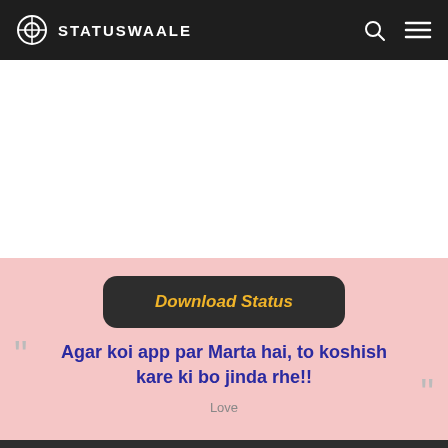STATUSWAALE
[Figure (other): White banner/advertisement area]
Download Status
Agar koi app par Marta hai, to koshish kare ki bo jinda rhe!!
Love